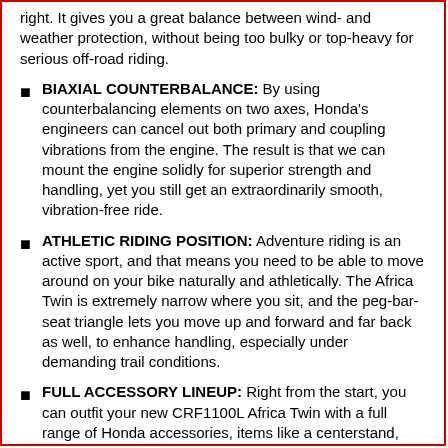right. It gives you a great balance between wind- and weather protection, without being too bulky or top-heavy for serious off-road riding.
BIAXIAL COUNTERBALANCE: By using counterbalancing elements on two axes, Honda's engineers can cancel out both primary and coupling vibrations from the engine. The result is that we can mount the engine solidly for superior strength and handling, yet you still get an extraordinarily smooth, vibration-free ride.
ATHLETIC RIDING POSITION: Adventure riding is an active sport, and that means you need to be able to move around on your bike naturally and athletically. The Africa Twin is extremely narrow where you sit, and the peg-bar-seat triangle lets you move up and forward and far back as well, to enhance handling, especially under demanding trail conditions.
FULL ACCESSORY LINEUP: Right from the start, you can outfit your new CRF1100L Africa Twin with a full range of Honda accessories, items like a centerstand, quick shifter, top and side boxes, a rally seat, rally footpegs,